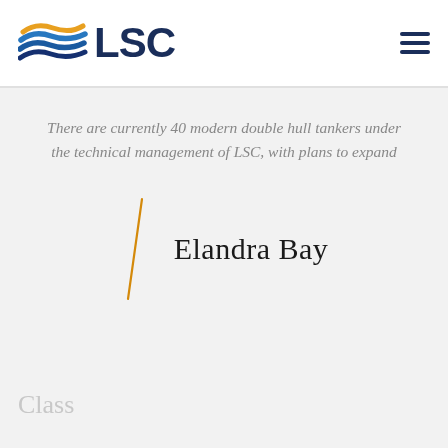[Figure (logo): LSC company logo with wave graphic in blue, teal and orange, followed by bold dark blue text 'LSC']
There are currently 40 modern double hull tankers under the technical management of LSC, with plans to expand
Elandra Bay
Class